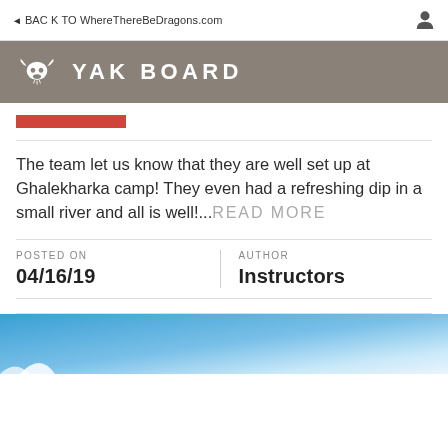BACK TO WhereThereBeDragons.com
YAK BOARD
The team let us know that they are well set up at Ghalekharka camp! They even had a refreshing dip in a small river and all is well!...READ MORE
POSTED ON
04/16/19
AUTHOR
Instructors
[Figure (photo): Blue sky/outdoor photo at the bottom of the page, partially visible]